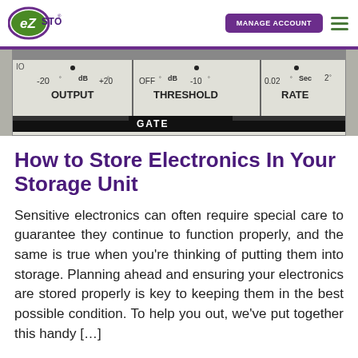EZ Storage | MANAGE ACCOUNT
[Figure (photo): Close-up photo of audio equipment controls showing dB OUTPUT, dB THRESHOLD, and Sec RATE knobs with GATE label, scale ranging from -20 to +20, OFF to -10, and 0.02 to 2]
How to Store Electronics In Your Storage Unit
Sensitive electronics can often require special care to guarantee they continue to function properly, and the same is true when you're thinking of putting them into storage. Planning ahead and ensuring your electronics are stored properly is key to keeping them in the best possible condition. To help you out, we've put together this handy […]